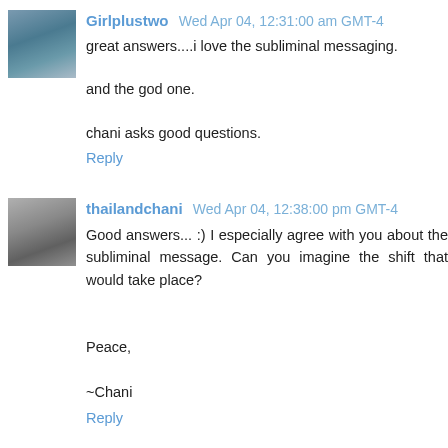Girlplustwo Wed Apr 04, 12:31:00 am GMT-4
great answers....i love the subliminal messaging.

and the god one.

chani asks good questions.
Reply
thailandchani Wed Apr 04, 12:38:00 pm GMT-4
Good answers... :) I especially agree with you about the subliminal message. Can you imagine the shift that would take place?

Peace,

~Chani
Reply